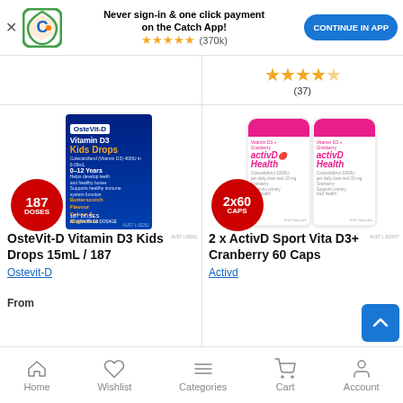[Figure (screenshot): Catch app promotional banner with logo, text, star rating (370k reviews), and 'Continue in App' button]
[Figure (photo): OsteVit-D Vitamin D3 Kids Drops 15mL / 187 doses product image with red 187 DOSES badge]
OsteVit-D Vitamin D3 Kids Drops 15mL / 187
Ostevit-D
From
[Figure (photo): Two ActivD Sport Vita D3+ Cranberry 60 Caps bottles with red 2x60 CAPS badge]
2 x ActivD Sport Vita D3+ Cranberry 60 Caps
Activd
Home   Wishlist   Categories   Cart   Account